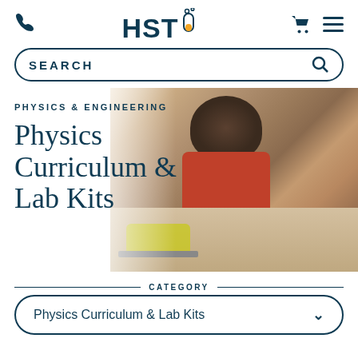HSTi — Phone, Cart, Menu navigation
SEARCH
[Figure (photo): A person with curly hair wearing a red tank top working on a robot car/electronics project at a desk with tools and components]
PHYSICS & ENGINEERING
Physics Curriculum & Lab Kits
CATEGORY
Physics Curriculum & Lab Kits